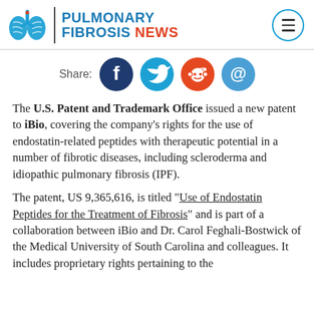PULMONARY FIBROSIS NEWS
[Figure (infographic): Social share icons row: Facebook, Twitter, Reddit, Email circles with Share label]
The U.S. Patent and Trademark Office issued a new patent to iBio, covering the company's rights for the use of endostatin-related peptides with therapeutic potential in a number of fibrotic diseases, including scleroderma and idiopathic pulmonary fibrosis (IPF).
The patent, US 9,365,616, is titled "Use of Endostatin Peptides for the Treatment of Fibrosis" and is part of a collaboration between iBio and Dr. Carol Feghali-Bostwick of the Medical University of South Carolina and colleagues. It includes proprietary rights pertaining to the